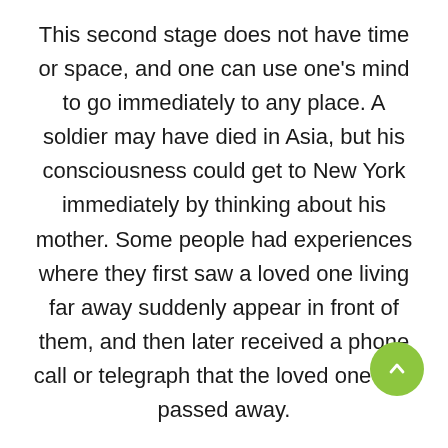This second stage does not have time or space, and one can use one's mind to go immediately to any place. A soldier may have died in Asia, but his consciousness could get to New York immediately by thinking about his mother. Some people had experiences where they first saw a loved one living far away suddenly appear in front of them, and then later received a phone call or telegraph that the loved one had passed away.

The third stage relates to a review of one's life. This review transcends time